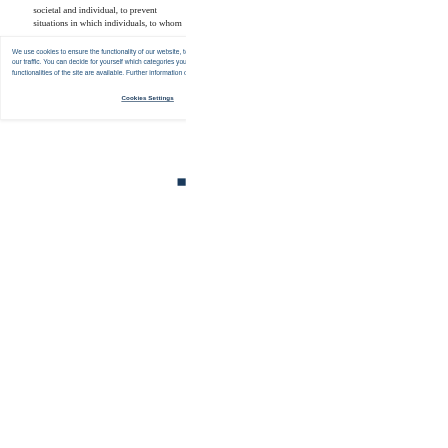societal and individual, to prevent situations in which individuals, to whom
We use cookies to ensure the functionality of our website, to personalize content, to provide social media features, and to analyze our traffic. You can decide for yourself which categories you want to deny or allow. Please note that based on your settings not all functionalities of the site are available. Further information can be found in our privacy policy.  Privacy Statement
Cookies Settings
Accept All Cookies
Conclusion: In countries such as the Netherlands, a practice of CLE is not contextually justified.
For now, grant me premise 2 (which I defend below) Consider now how the aforementioned reasons why we should care about 'contextual justification' can apply to CLE.